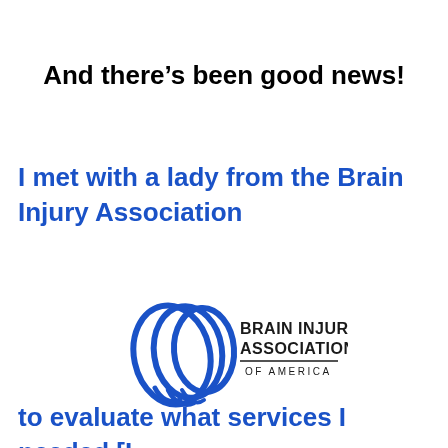And there's been good news!
I met with a lady from the Brain Injury Association
[Figure (logo): Brain Injury Association of America logo with stylized blue interlocking loops/ribbons on the left and text 'BRAIN INJURY ASSOCIATION OF AMERICA' on the right]
to evaluate what services I needed [I